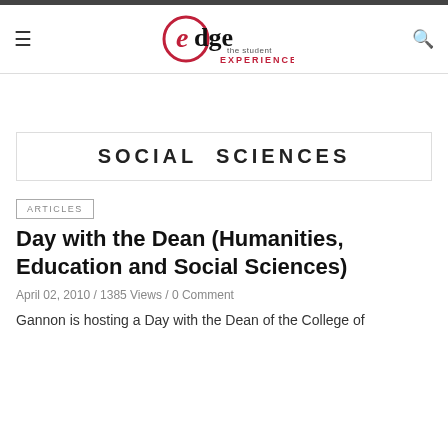[Figure (logo): Edge - The Student Experience logo with circular 'e' in red/crimson and black text]
SOCIAL SCIENCES
ARTICLES
Day with the Dean (Humanities, Education and Social Sciences)
April 02, 2010 / 1385 Views / 0 Comment
Gannon is hosting a Day with the Dean of the College of